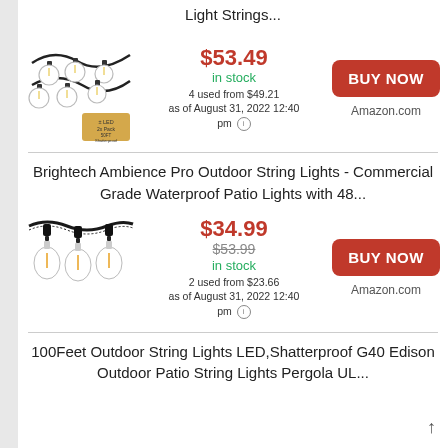Light Strings...
[Figure (photo): LED string lights with globe bulbs, 2-pack 50ft shatterproof outdoor string lights product image]
$53.49 in stock 4 used from $49.21 as of August 31, 2022 12:40 pm
BUY NOW Amazon.com
Brightech Ambience Pro Outdoor String Lights - Commercial Grade Waterproof Patio Lights with 48...
[Figure (photo): Brightech outdoor string lights with Edison bulbs hanging from wires]
$34.99 $53.99 in stock 2 used from $23.66 as of August 31, 2022 12:40 pm
BUY NOW Amazon.com
100Feet Outdoor String Lights LED,Shatterproof G40 Edison Outdoor Patio String Lights Pergola UL...